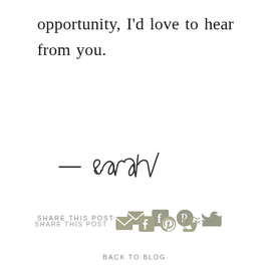opportunity, I’d love to hear from you.
[Figure (illustration): Handwritten script signature reading ‘– sarah’]
SHARE THIS POST
BACK TO BLOG